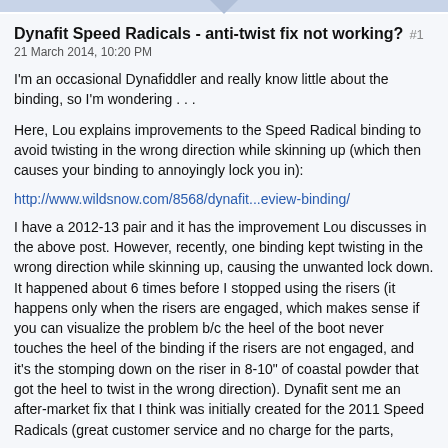Dynafit Speed Radicals - anti-twist fix not working? #1
21 March 2014, 10:20 PM
I'm an occasional Dynafiddler and really know little about the binding, so I'm wondering . . .
Here, Lou explains improvements to the Speed Radical binding to avoid twisting in the wrong direction while skinning up (which then causes your binding to annoyingly lock you in):
http://www.wildsnow.com/8568/dynafit...eview-binding/
I have a 2012-13 pair and it has the improvement Lou discusses in the above post. However, recently, one binding kept twisting in the wrong direction while skinning up, causing the unwanted lock down. It happened about 6 times before I stopped using the risers (it happens only when the risers are engaged, which makes sense if you can visualize the problem b/c the heel of the boot never touches the heel of the binding if the risers are not engaged, and it's the stomping down on the riser in 8-10" of coastal powder that got the heel to twist in the wrong direction). Dynafit sent me an after-market fix that I think was initially created for the 2011 Speed Radicals (great customer service and no charge for the parts,